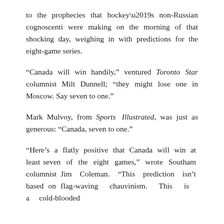to the prophecies that hockey's non-Russian cognoscenti were making on the morning of that shocking day, weighing in with predictions for the eight-game series.
“Canada will win handily,” ventured Toronto Star columnist Milt Dunnell; “they might lose one in Moscow. Say seven to one.”
Mark Mulvoy, from Sports Illustrated, was just as generous: “Canada, seven to one.”
“Here’s a flatly positive that Canada will win at least seven of the eight games,” wrote Southam columnist Jim Coleman. “This prediction isn’t based on flag-waving chauvinism. This is a cold-blooded